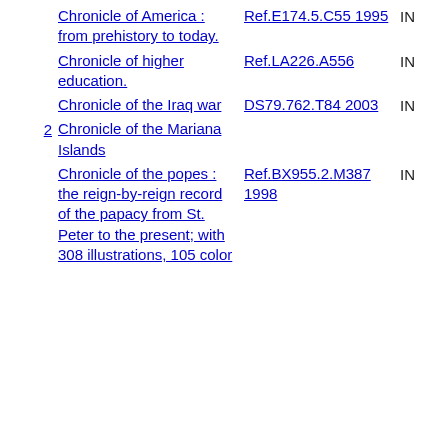Chronicle of America : from prehistory to today.  Ref.E174.5.C55 1995  IN
Chronicle of higher education.  Ref.LA226.A556  IN
Chronicle of the Iraq war  DS79.762.T84 2003  IN
2  Chronicle of the Mariana Islands
Chronicle of the popes : the reign-by-reign record of the papacy from St. Peter to the present; with 308 illustrations, 105 color  Ref.BX955.2.M387 1998  IN